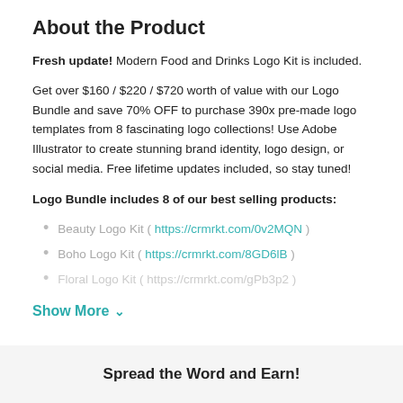About the Product
Fresh update! Modern Food and Drinks Logo Kit is included.
Get over $160 / $220 / $720 worth of value with our Logo Bundle and save 70% OFF to purchase 390x pre-made logo templates from 8 fascinating logo collections! Use Adobe Illustrator to create stunning brand identity, logo design, or social media. Free lifetime updates included, so stay tuned!
Logo Bundle includes 8 of our best selling products:
Beauty Logo Kit ( https://crmrkt.com/0v2MQN )
Boho Logo Kit ( https://crmrkt.com/8GD6lB )
Floral Logo Kit ( https://crmrkt.com/gPb3p2 )
Show More
Spread the Word and Earn!